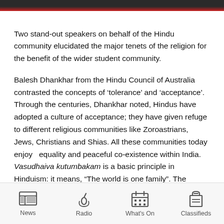Two stand-out speakers on behalf of the Hindu community elucidated the major tenets of the religion for the benefit of the wider student community.
Balesh Dhankhar from the Hindu Council of Australia contrasted the concepts of ‘tolerance’ and ‘acceptance’. Through the centuries, Dhankhar noted, Hindus have adopted a culture of acceptance; they have given refuge to different religious communities like Zoroastrians, Jews, Christians and Shias. All these communities today enjoy   equality and peaceful co-existence within India. Vasudhaiva kutumbakam is a basic principle in Hinduism: it means, "The world is one family". The concept of ‘tolerance’, on the other hand, is rather shallow and only provides a synthetic illusion of peace, Dhankar observed.
News | Radio | What's On | Classifieds